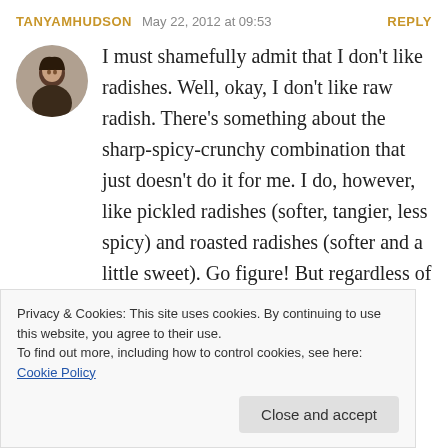TANYAMHUDSON   May 22, 2012 at 09:53   REPLY
I must shamefully admit that I don't like radishes. Well, okay, I don't like raw radish. There's something about the sharp-spicy-crunchy combination that just doesn't do it for me. I do, however, like pickled radishes (softer, tangier, less spicy) and roasted radishes (softer and a little sweet). Go figure! But regardless of my radish dislike, this looks beautiful and delicious!
Privacy & Cookies: This site uses cookies. By continuing to use this website, you agree to their use.
To find out more, including how to control cookies, see here: Cookie Policy
Close and accept